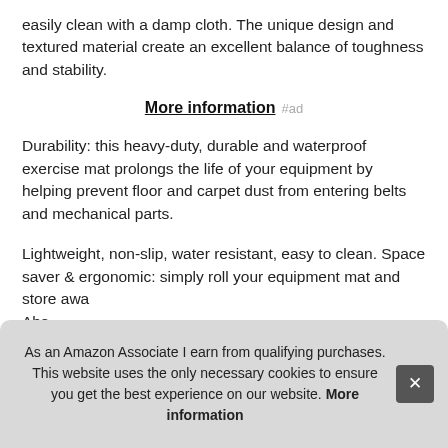easily clean with a damp cloth. The unique design and textured material create an excellent balance of toughness and stability.
More information #ad
Durability: this heavy-duty, durable and waterproof exercise mat prolongs the life of your equipment by helping prevent floor and carpet dust from entering belts and mechanical parts.
Lightweight, non-slip, water resistant, easy to clean. Space saver & ergonomic: simply roll your equipment mat and store awa... Abs... surf... perf...
As an Amazon Associate I earn from qualifying purchases. This website uses the only necessary cookies to ensure you get the best experience on our website. More information